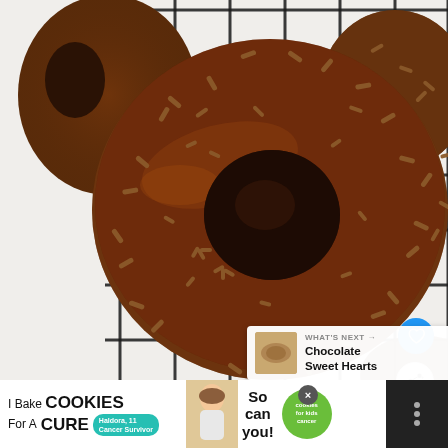[Figure (photo): Top-down view of chocolate-frosted donuts covered in chocolate sprinkles, sitting on a black wire cooling rack on a white surface. The central donut is prominently featured with glossy dark chocolate glaze and chocolate jimmie sprinkles. Partial donuts visible at top-left, top-right, and bottom-right.]
[Figure (infographic): WHAT'S NEXT arrow banner with thumbnail image and text 'Chocolate Sweet Hearts']
[Figure (infographic): Advertisement banner: 'I Bake COOKIES For A CURE - Haldora, 11 Cancer Survivor' with 'So can you!' text and Cookies for Kids Cancer green circular logo. Features a photo of a young girl. Close button (X) visible. Right side has a dark strip with menu dots icon.]